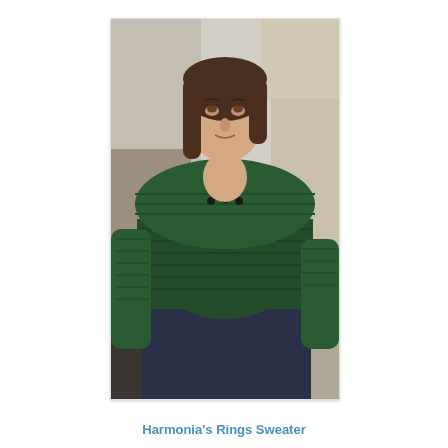[Figure (photo): A young woman with short brown hair wearing a dark green knit sweater with a wide cowl/shawl collar and decorative buttons, paired with dark jeans and a black belt. She is standing in an outdoor or semi-outdoor setting with a stone wall in the background, smiling slightly.]
Harmonia's Rings Sweater